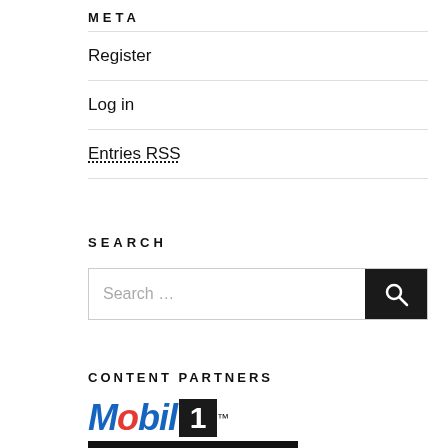META
Register
Log in
Entries RSS
SEARCH
[Figure (other): Search input box with dark search button containing magnifying glass icon]
CONTENT PARTNERS
[Figure (logo): Mobil 1 The Grid logo — Mobil 1 in blue and red italic text with black box '1', below it 'THE GRID' on black background]